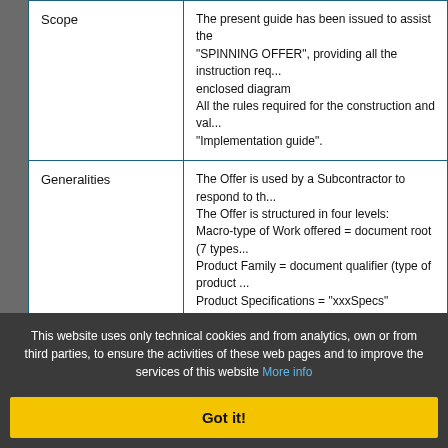| Field | Content |
| --- | --- |
| Scope | The present guide has been issued to assist the "SPINNING OFFER", providing all the instruction required and the enclosed diagram
All the rules required for the construction and validation are in the "Implementation guide". |
| Generalities | The Offer is used by a Subcontractor to respond to the...
The Offer is structured in four levels:
Macro-type of Work offered = document root (7 types...
Product Family = document qualifier (type of product...
Product Specifications = "xxxSpecs" (technical chara...
Operations offered = "XXXMnfrOperation" (details of t...
Quantities, unit measures and prices must be referred... |
| Back compatibility | Updated |
| Document Code | G056 |
| Resources | [Guide]
[Schema]

[Compare version] |
| Used in Processes |  |
This website uses only technical cookies and from analytics, own or from third parties, to ensure the activities of these web pages and to improve the services of this website More info
Got it!